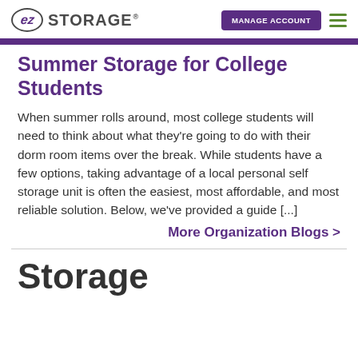EZ Storage - MANAGE ACCOUNT
Summer Storage for College Students
When summer rolls around, most college students will need to think about what they’re going to do with their dorm room items over the break. While students have a few options, taking advantage of a local personal self storage unit is often the easiest, most affordable, and most reliable solution. Below, we’ve provided a guide [...]
More Organization Blogs >
Storage